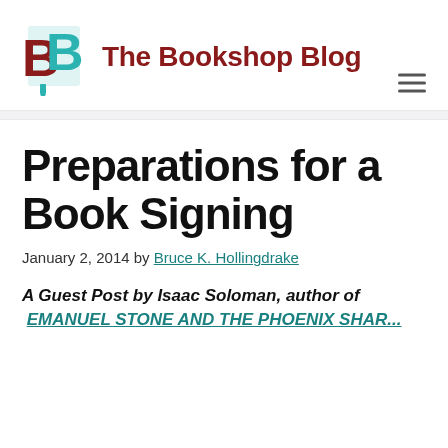The Bookshop Blog
Preparations for a Book Signing
January 2, 2014 by Bruce K. Hollingdrake
A Guest Post by Isaac Soloman, author of EMANUEL STONE AND THE PHOENIX SHAR...